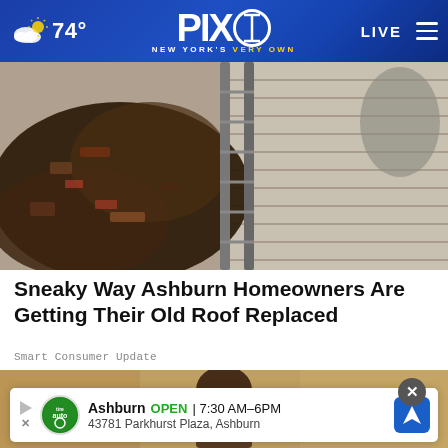74° PIX11 NEW YORK'S VERY OWN LIVE
[Figure (photo): Damaged roof with debris, broken shingles, and a ladder leaning against it]
Sneaky Way Ashburn Homeowners Are Getting Their Old Roof Replaced
Smart Consumer Update
[Figure (photo): Partially visible person in foreground against a stone wall background]
Ashburn  OPEN  7:30 AM–6PM  43781 Parkhurst Plaza, Ashburn